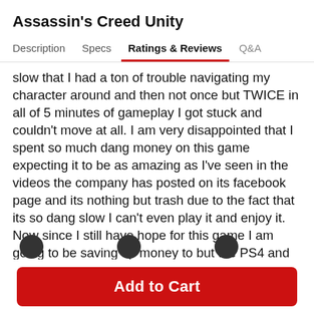Assassin's Creed Unity
Description  Specs  Ratings & Reviews  Q&A
slow that I had a ton of trouble navigating my character around and then not once but TWICE in all of 5 minutes of gameplay I got stuck and couldn't move at all. I am very disappointed that I spent so much dang money on this game expecting it to be as amazing as I've seen in the videos the company has posted on its facebook page and its nothing but trash due to the fact that its so dang slow I can't even play it and enjoy it. Now since I still have hope for this game I am going to be saving up money to but the PS4 and the PS4 version of this game. Hopefully my money wont go to waste again. I do NOT recommend that anyone buy the PC version of this game :/
Add to Cart